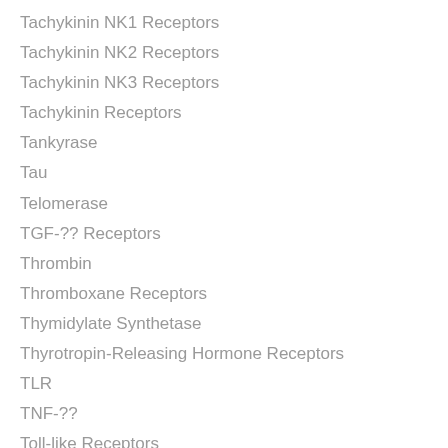Tachykinin NK1 Receptors
Tachykinin NK2 Receptors
Tachykinin NK3 Receptors
Tachykinin Receptors
Tankyrase
Tau
Telomerase
TGF-?? Receptors
Thrombin
Thromboxane Receptors
Thymidylate Synthetase
Thyrotropin-Releasing Hormone Receptors
TLR
TNF-??
Toll-like Receptors